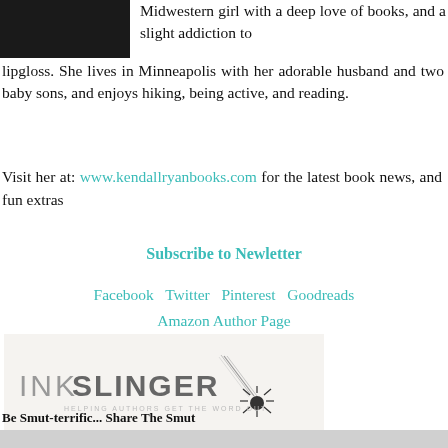[Figure (photo): Author photo (dark/black image, top left)]
Midwestern girl with a deep love of books, and a slight addiction to lipgloss. She lives in Minneapolis with her adorable husband and two baby sons, and enjoys hiking, being active, and reading.
Visit her at: www.kendallryanbooks.com for the latest book news, and fun extras
Subscribe to Newletter
Facebook  Twitter  Pinterest  Goodreads  Amazon Author Page
[Figure (logo): Inkslinger PR logo — INKSLINGER with needle graphic and tagline HELPING AUTHORS GET THE WORD OUT]
Be Smut-terrific... Share The Smut